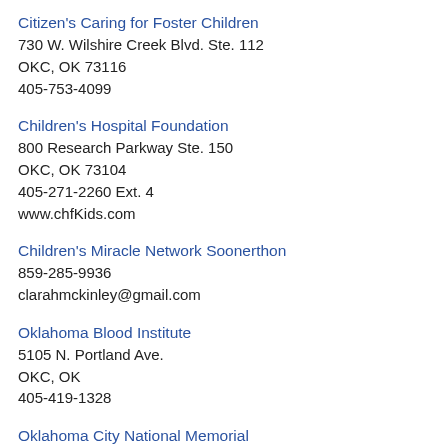Citizen's Caring for Foster Children
730 W. Wilshire Creek Blvd. Ste. 112
OKC, OK 73116
405-753-4099
Children's Hospital Foundation
800 Research Parkway Ste. 150
OKC, OK 73104
405-271-2260 Ext. 4
www.chfKids.com
Children's Miracle Network Soonerthon
859-285-9936
clarahmckinley@gmail.com
Oklahoma Blood Institute
5105 N. Portland Ave.
OKC, OK
405-419-1328
Oklahoma City National Memorial
620 N. Harvey Ave.